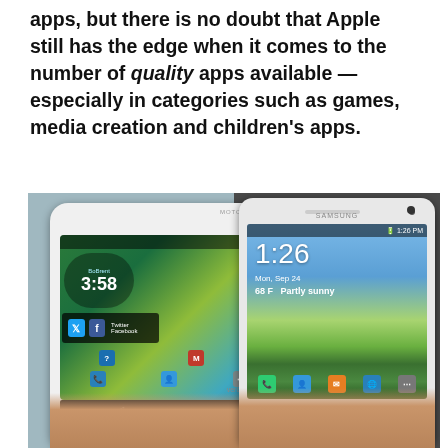apps, but there is no doubt that Apple still has the edge when it comes to the number of quality apps available — especially in categories such as games, media creation and children's apps.
[Figure (photo): Two Android smartphones held in hands side by side. Left: a white Motorola phone showing its Android home screen with a clock widget showing 3:58, weather showing 78°, and Twitter/Facebook widgets. Right: a white Samsung Galaxy phone showing its Android home screen with the time 1:26 and weather showing 68°F.]